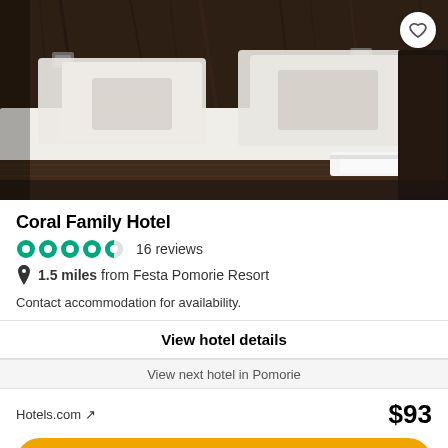[Figure (photo): Hotel room photo showing a neatly made bed with white linens and dark brown decorative pillows, dark wood headboard panel, with folded white towels at the foot of the bed.]
Coral Family Hotel
16 reviews
1.5 miles from Festa Pomorie Resort
Contact accommodation for availability.
View hotel details
Hotels.com ↗
$93
View deal